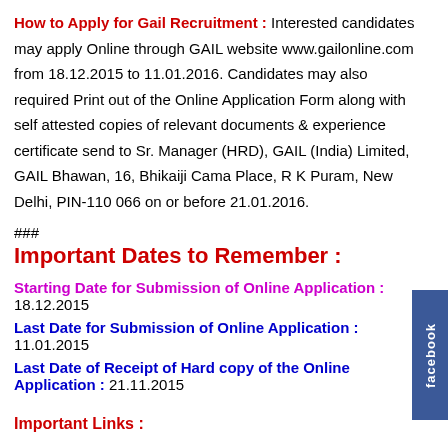How to Apply for Gail Recruitment : Interested candidates may apply Online through GAIL website www.gailonline.com from 18.12.2015 to 11.01.2016. Candidates may also required Print out of the Online Application Form along with self attested copies of relevant documents & experience certificate send to Sr. Manager (HRD), GAIL (India) Limited, GAIL Bhawan, 16, Bhikaiji Cama Place, R K Puram, New Delhi, PIN-110 066 on or before 21.01.2016.
###
Important Dates to Remember :
Starting Date for Submission of Online Application : 18.12.2015
Last Date for Submission of Online Application : 11.01.2015
Last Date of Receipt of Hard copy of the Online Application : 21.11.2015
Important Links :
Detail Advertisement Link :